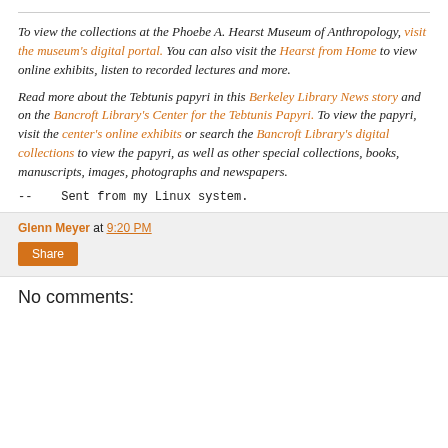To view the collections at the Phoebe A. Hearst Museum of Anthropology, visit the museum's digital portal. You can also visit the Hearst from Home to view online exhibits, listen to recorded lectures and more.
Read more about the Tebtunis papyri in this Berkeley Library News story and on the Bancroft Library's Center for the Tebtunis Papyri. To view the papyri, visit the center's online exhibits or search the Bancroft Library's digital collections to view the papyri, as well as other special collections, books, manuscripts, images, photographs and newspapers.
--    Sent from my Linux system.
Glenn Meyer at 9:20 PM
Share
No comments: